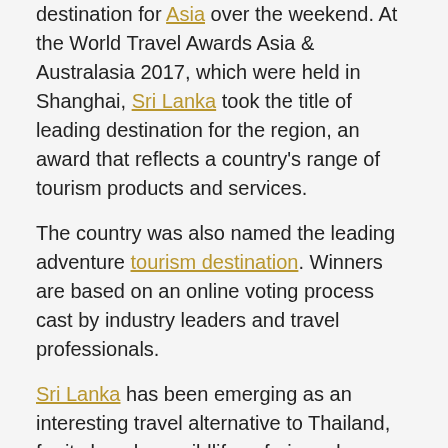destination for Asia over the weekend. At the World Travel Awards Asia & Australasia 2017, which were held in Shanghai, Sri Lanka took the title of leading destination for the region, an award that reflects a country's range of tourism products and services.
The country was also named the leading adventure tourism destination. Winners are based on an online voting process cast by industry leaders and travel professionals.
Sri Lanka has been emerging as an interesting travel alternative to Thailand, for its beaches, wildlife safaris and adventure tours. Along with its native land mammals—elephants, leopards and wild buffalos—the island's marine surroundings make the destination one of the best for whale and dolphin watching.
Sri Lanka is also known a[Back to top]seekers for offering top-